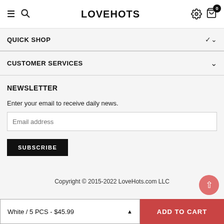LOVEHOTS
QUICK SHOP
CUSTOMER SERVICES
NEWSLETTER
Enter your email to receive daily news.
Email address
SUBSCRIBE
Copyright © 2015-2022 LoveHots.com LLC
White / 5 PCS - $45.99
ADD TO CART